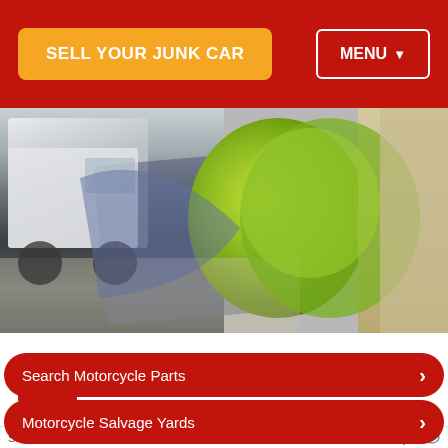SELL YOUR JUNK CAR | MENU
[Figure (photo): Outdoor photo showing a covered vehicle/truck on the left side and a large round green bush/shrub on the right, with a stone wall in background]
Does not operate, has lots......
$450
Nissan Altima 2002
Search for
Search Motorcycle Parts
Motorcycle Salvage Yards